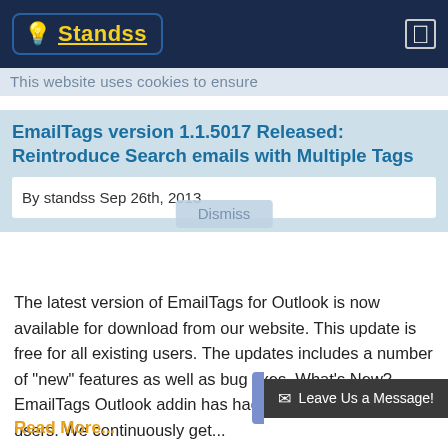Standss
This website uses cookies to ensure
EmailTags version 1.1.5017 Released: Reintroduce Search emails with Multiple Tags
Dismiss
By standss Sep 26th, 2013
The latest version of EmailTags for Outlook is now available for download from our website. This update is free for all existing users. The updates includes a number of "new" features as well as bug fixes. What's New? EmailTags Outlook addin has had a great response from users. We continuously get...
Read More...
Leave Us a Message!